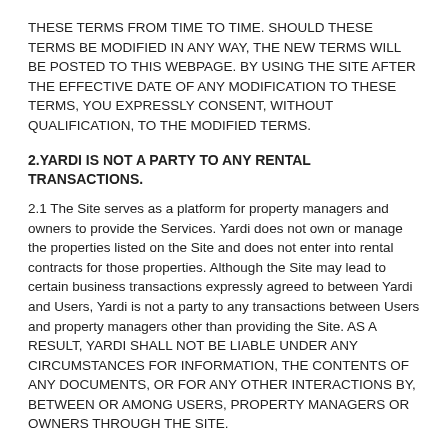THESE TERMS FROM TIME TO TIME. SHOULD THESE TERMS BE MODIFIED IN ANY WAY, THE NEW TERMS WILL BE POSTED TO THIS WEBPAGE. BY USING THE SITE AFTER THE EFFECTIVE DATE OF ANY MODIFICATION TO THESE TERMS, YOU EXPRESSLY CONSENT, WITHOUT QUALIFICATION, TO THE MODIFIED TERMS.
2.YARDI IS NOT A PARTY TO ANY RENTAL TRANSACTIONS.
2.1 The Site serves as a platform for property managers and owners to provide the Services. Yardi does not own or manage the properties listed on the Site and does not enter into rental contracts for those properties. Although the Site may lead to certain business transactions expressly agreed to between Yardi and Users, Yardi is not a party to any transactions between Users and property managers other than providing the Site. AS A RESULT, YARDI SHALL NOT BE LIABLE UNDER ANY CIRCUMSTANCES FOR INFORMATION, THE CONTENTS OF ANY DOCUMENTS, OR FOR ANY OTHER INTERACTIONS BY, BETWEEN OR AMONG USERS, PROPERTY MANAGERS OR OWNERS THROUGH THE SITE.
2.2 You are responsible for how you use the Site, and Yardi encourages anyone who accesses the Site, including Users, to